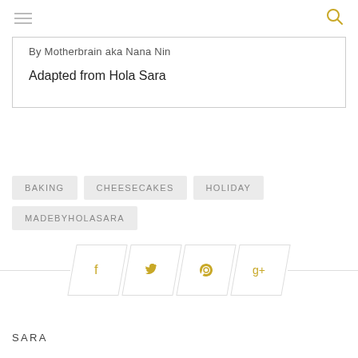By Motherbrain aka Nana Nin
Adapted from Hola Sara
BAKING
CHEESECAKES
HOLIDAY
MADEBYHOLASARA
[Figure (other): Social share icons: Facebook, Twitter, Pinterest, Google+ in skewed parallelogram buttons on a horizontal line]
SARA